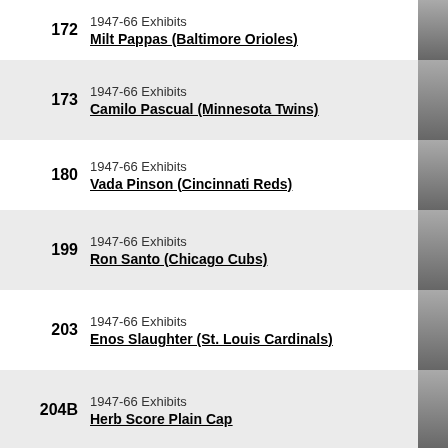172 1947-66 Exhibits Milt Pappas (Baltimore Orioles)
173 1947-66 Exhibits Camilo Pascual (Minnesota Twins)
180 1947-66 Exhibits Vada Pinson (Cincinnati Reds)
199 1947-66 Exhibits Ron Santo (Chicago Cubs)
203 1947-66 Exhibits Enos Slaughter (St. Louis Cardinals)
204B 1947-66 Exhibits Herb Score Plain Cap